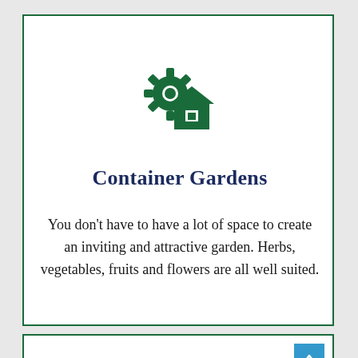[Figure (illustration): Dark green icon combining a gear/sun shape and a house silhouette with a small square window, centered near top of card]
Container Gardens
You don't have to have a lot of space to create an inviting and attractive garden. Herbs, vegetables, fruits and flowers are all well suited.